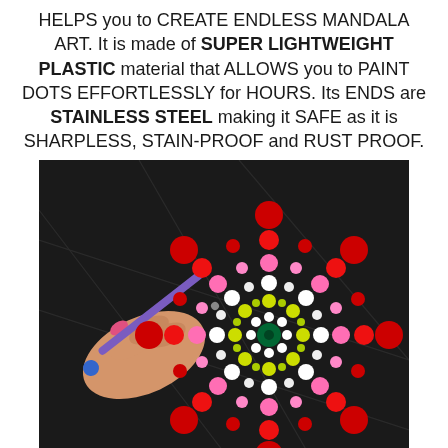HELPS you to CREATE ENDLESS MANDALA ART. It is made of SUPER LIGHTWEIGHT PLASTIC material that ALLOWS you to PAINT DOTS EFFORTLESSLY for HOURS. Its ENDS are STAINLESS STEEL making it SAFE as it is SHARPLESS, STAIN-PROOF and RUST PROOF.
[Figure (photo): A hand holding a dotting tool with a blue tip and pink handle, creating a colorful dot mandala pattern on a dark surface. The mandala features concentric rings of dots in red, pink, white, yellow-green, and has a dark green center.]